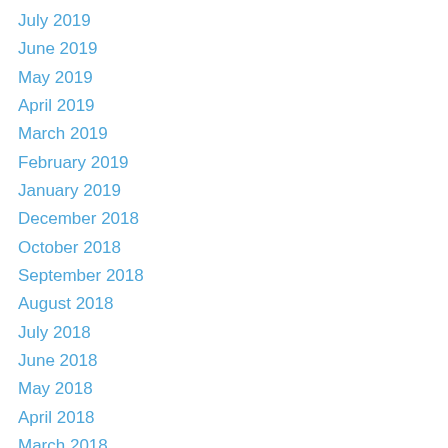July 2019
June 2019
May 2019
April 2019
March 2019
February 2019
January 2019
December 2018
October 2018
September 2018
August 2018
July 2018
June 2018
May 2018
April 2018
March 2018
February 2018
January 2018
December 2017
November 2017